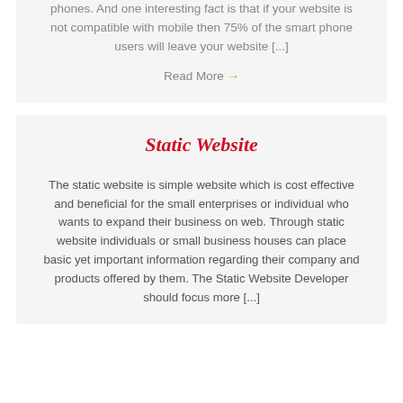phones. And one interesting fact is that if your website is not compatible with mobile then 75% of the smart phone users will leave your website [...]
Read More →
Static Website
The static website is simple website which is cost effective and beneficial for the small enterprises or individual who wants to expand their business on web. Through static website individuals or small business houses can place basic yet important information regarding their company and products offered by them. The Static Website Developer should focus more [...]